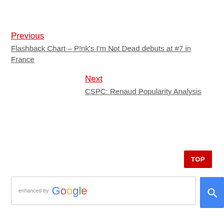Previous
Flashback Chart – P!nk's I'm Not Dead debuts at #7 in France
Next
CSPC: Renaud Popularity Analysis
[Figure (screenshot): A 'TOP' red button at bottom right, and an enhanced by Google search bar at the bottom of the page with a blue search button.]